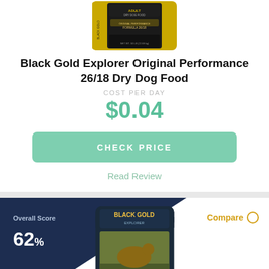[Figure (photo): Black Gold Explorer Original Performance dog food bag, partial view from top]
Black Gold Explorer Original Performance 26/18 Dry Dog Food
COST PER DAY
$0.04
CHECK PRICE
Read Review
[Figure (photo): Score badge showing Overall Score 62% on dark navy triangle, and Black Gold Explorer dog food bag in lower card]
Compare